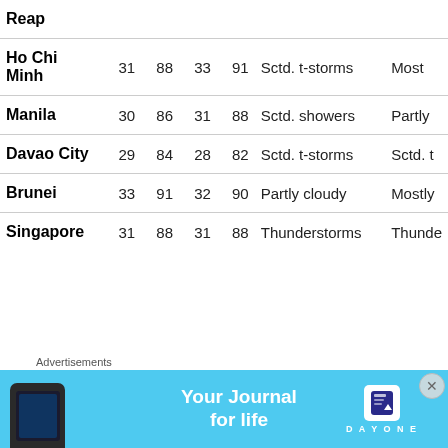| City | Hi°C | Hi°F | Lo°C | Lo°F | Today | Tomorrow |
| --- | --- | --- | --- | --- | --- | --- |
| Reap |  |  |  |  |  |  |
| Ho Chi Minh | 31 | 88 | 33 | 91 | Sctd. t-storms | Most |
| Manila | 30 | 86 | 31 | 88 | Sctd. showers | Partly |
| Davao City | 29 | 84 | 28 | 82 | Sctd. t-storms | Sctd. t |
| Brunei | 33 | 91 | 32 | 90 | Partly cloudy | Mostly |
| Singapore | 31 | 88 | 31 | 88 | Thunderstorms | Thunde |
Advertisements
[Figure (infographic): Day One app advertisement banner with blue background, phone illustration, text 'Your Journal for life', and Day One logo]